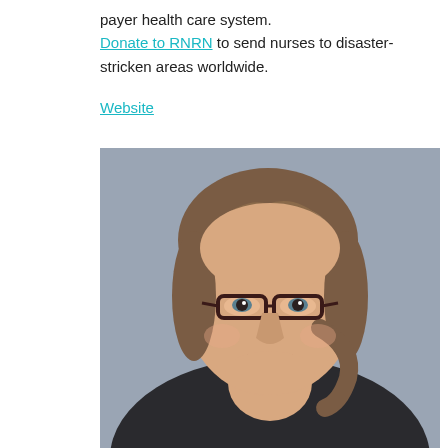payer health care system. Donate to RNRN to send nurses to disaster-stricken areas worldwide.

Website
[Figure (photo): Portrait photo of a woman with glasses and brown hair pulled back, wearing a dark grey sweater, smiling, photographed against a grey background.]